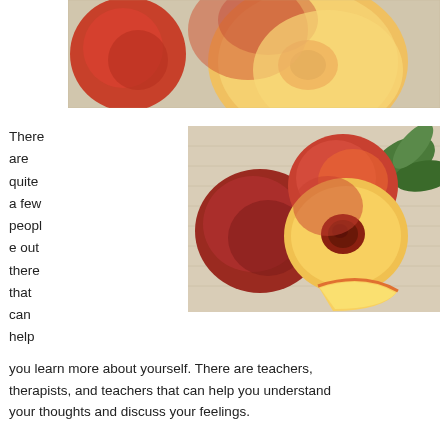[Figure (photo): Close-up photo of peaches on a woven mat — one whole red-and-yellow peach and one halved peach showing the yellow flesh and pit cavity.]
There are quite a few people out there that can help you learn more about yourself. There are teachers, therapists, and teachers that can help you understand your thoughts and discuss your feelings.
[Figure (photo): Photo of multiple nectarines/peaches on a woven mat — two whole red fruits, one halved fruit showing the pit, a wedge slice, and green leaves in the background.]